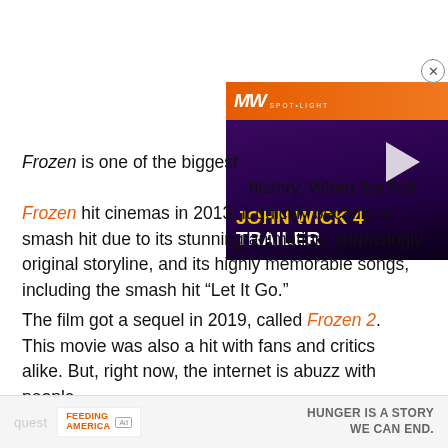[Figure (screenshot): Video ad overlay in top-right corner showing John Wick 4 Trailer with MW Spotlight branding, orange header bar with logo, purple/dark background with figure in rain, play button, and yellow/white title text 'JOHN WICK 4 TRAILER']
Frozen is one of the biggest history. When the first Frozen hit cinemas in 2013, it quickly became a smash hit due to its stunning animation, surprisingly original storyline, and its highly memorable songs, including the smash hit “Let It Go.”
The film got a sequel in 2019, called Frozen 2. This movie was also a hit with fans and critics alike. But, right now, the internet is abuzz with people
[Figure (screenshot): Bottom advertisement bar with 'quest' text on left, Feeding America logo in center with Ad badge, and 'HUNGER IS A STORY WE CAN END.' text on right]